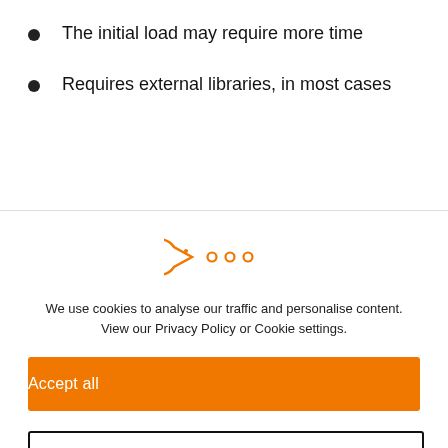The initial load may require more time
Requires external libraries, in most cases
[Figure (illustration): Cookie consent icon: pac-man style orange icon with circles]
We use cookies to analyse our traffic and personalise content. View our Privacy Policy or Cookie settings.
Accept all
Dismiss
Preferences